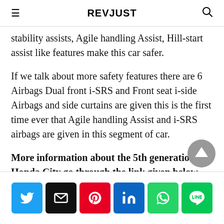REVJUST
stability assists, Agile handling Assist, Hill-start assist like features make this car safer.
If we talk about more safety features there are 6 Airbags Dual front i-SRS and Front seat i-side Airbags and side curtains are given this is the first time ever that Agile handling Assist and i-SRS airbags are given in this segment of car.
More information about the 5th generation Honda City go through the link given below.
Social share bar: Twitter, Email, Pinterest, LinkedIn, WhatsApp, LINE